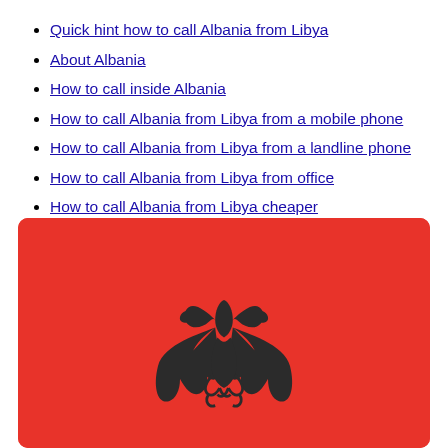Quick hint how to call Albania from Libya
About Albania
How to call inside Albania
How to call Albania from Libya from a mobile phone
How to call Albania from Libya from a landline phone
How to call Albania from Libya from office
How to call Albania from Libya cheaper
[Figure (illustration): Albanian flag — red background with black double-headed eagle centered, corners rounded]